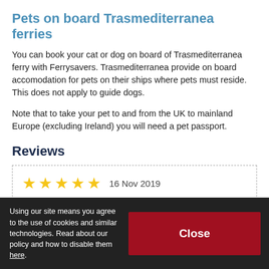Pets on board Trasmediterranea ferries
You can book your cat or dog on board of Trasmediterranea ferry with Ferrysavers. Trasmediterranea provide on board accomodation for pets on their ships where pets must reside. This does not apply to guide dogs.
Note that to take your pet to and from the UK to mainland Europe (excluding Ireland) you will need a pet passport.
Reviews
★★★★★  16 Nov 2019
Excellent
The overall comfort and d… ur own sandwiches but we ate in the restaurant because the prices of the items were very
Using our site means you agree to the use of cookies and similar technologies. Read about our policy and how to disable them here.